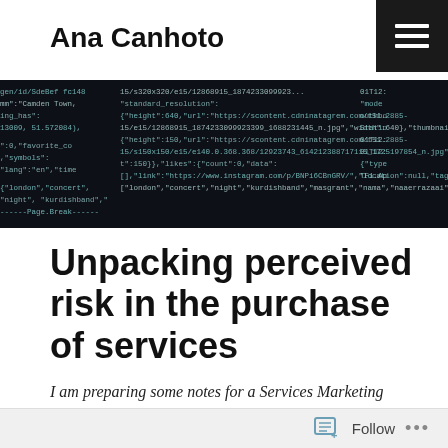Ana Canhoto
[Figure (screenshot): Dark background screenshot showing JSON/API data with light-colored monospace text, resembling Instagram API response data]
Unpacking perceived risk in the purchase of services
I am preparing some notes for a Services Marketing module, and thought that I would share this extract
Follow ...